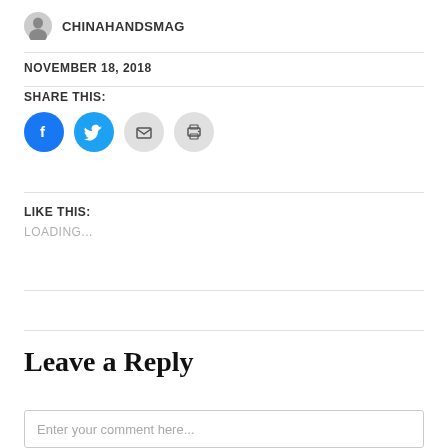CHINAHANDSMAG
NOVEMBER 18, 2018
SHARE THIS:
[Figure (infographic): Four circular social sharing icons: Facebook (blue), Twitter (light blue), Email (grey), Print (grey)]
LIKE THIS:
LOADING...
Leave a Reply
Enter your comment here...